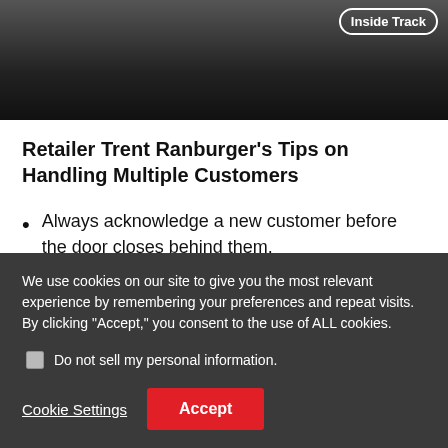[Figure (photo): Dark background image showing partial view of a vehicle interior or showroom scene, with an 'Inside Track' badge overlay in the top right corner.]
Retailer Trent Ranburger's Tips on Handling Multiple Customers
Always acknowledge a new customer before the door closes behind them.
If you are working with a customer, excuse yourself for a moment to welcome another
We use cookies on our site to give you the most relevant experience by remembering your preferences and repeat visits. By clicking "Accept," you consent to the use of ALL cookies.
Do not sell my personal information.
Cookie Settings  Accept